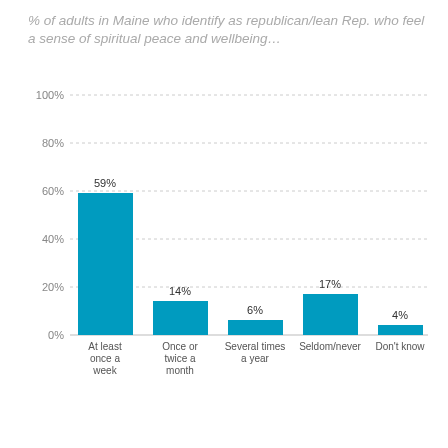% of adults in Maine who identify as republican/lean Rep. who feel a sense of spiritual peace and wellbeing…
[Figure (bar-chart): % of adults in Maine who identify as republican/lean Rep. who feel a sense of spiritual peace and wellbeing…]